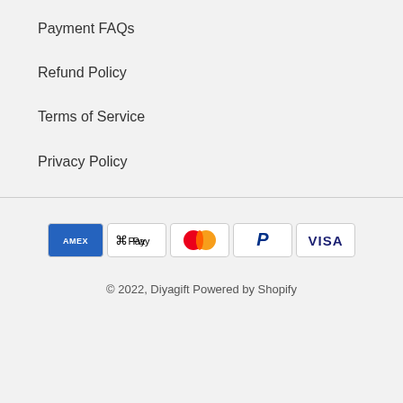Payment FAQs
Refund Policy
Terms of Service
Privacy Policy
[Figure (other): Payment method icons: American Express, Apple Pay, Mastercard, PayPal, Visa]
© 2022, Diyagift Powered by Shopify